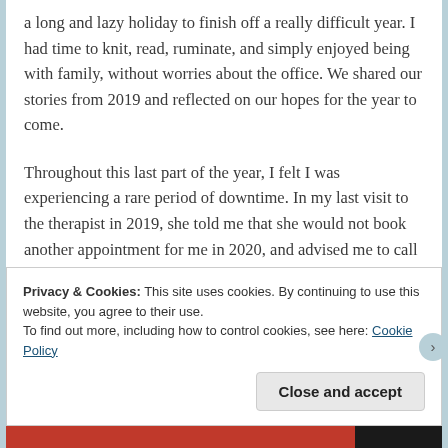a long and lazy holiday to finish off a really difficult year. I had time to knit, read, ruminate, and simply enjoyed being with family, without worries about the office. We shared our stories from 2019 and reflected on our hopes for the year to come.
Throughout this last part of the year, I felt I was experiencing a rare period of downtime. In my last visit to the therapist in 2019, she told me that she would not book another appointment for me in 2020, and advised me to call her, if I needed, next
Privacy & Cookies: This site uses cookies. By continuing to use this website, you agree to their use.
To find out more, including how to control cookies, see here: Cookie Policy